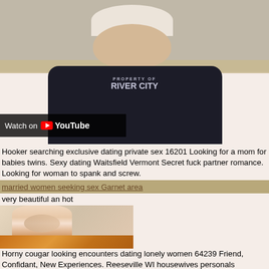[Figure (screenshot): YouTube video thumbnail showing person wearing a dark 'Property of River City' long-sleeve shirt seated at a desk, with a 'Watch on YouTube' overlay in the bottom-left corner]
Hooker searching exclusive dating private sex 16201 Looking for a mom for babies twins. Sexy dating Waitsfield Vermont Secret fuck partner romance. Looking for woman to spank and screw.
married women seeking sex Garner area
very beautiful an hot
[Figure (photo): Two photos of women]
Horny cougar looking encounters dating lonely women 64239 Friend, Confidant, New Experiences. Reeseville WI housewives personals